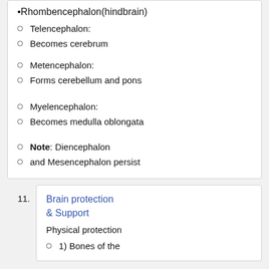•Rhombencephalon(hindbrain)
Telencephalon:
Becomes cerebrum
Metencephalon:
Forms cerebellum and pons
Myelencephalon:
Becomes medulla oblongata
Note: Diencephalon
and Mesencephalon persist
Brain protection & Support
Physical protection
1) Bones of the